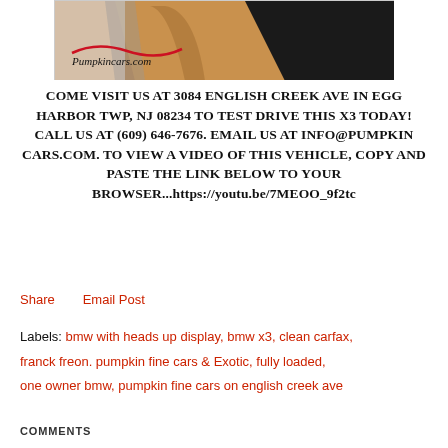[Figure (photo): Interior photo of a BMW X3 showing tan/brown leather seats and dark interior, with a Pumpkincars.com logo overlay in the lower left.]
COME VISIT US AT 3084 ENGLISH CREEK AVE IN EGG HARBOR TWP, NJ 08234 TO TEST DRIVE THIS X3 TODAY! CALL US AT (609) 646-7676. EMAIL US AT INFO@PUMPKIN CARS.COM. TO VIEW A VIDEO OF THIS VEHICLE, COPY AND PASTE THE LINK BELOW TO YOUR BROWSER...https://youtu.be/7MEOO_9f2tc
Share    Email Post
Labels: bmw with heads up display, bmw x3, clean carfax, franck freon. pumpkin fine cars & Exotic, fully loaded, one owner bmw, pumpkin fine cars on english creek ave
COMMENTS